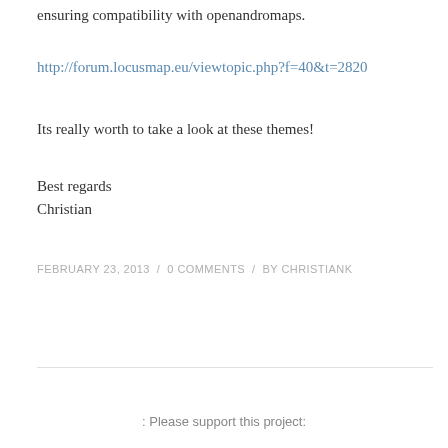ensuring compatibility with openandromaps.
http://forum.locusmap.eu/viewtopic.php?f=40&t=2820
Its really worth to take a look at these themes!
Best regards
Christian
FEBRUARY 23, 2013  /  0 COMMENTS  /  BY CHRISTIANK
: Please support this project: